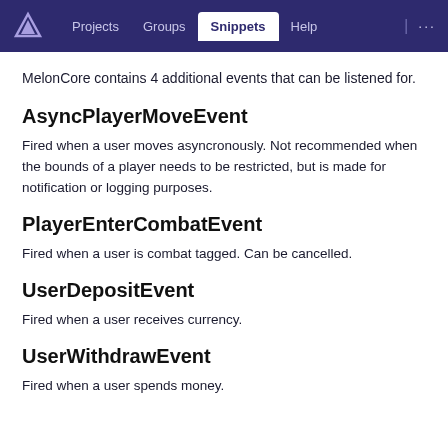Projects  Groups  Snippets  Help  ...
MelonCore contains 4 additional events that can be listened for.
AsyncPlayerMoveEvent
Fired when a user moves asyncronously. Not recommended when the bounds of a player needs to be restricted, but is made for notification or logging purposes.
PlayerEnterCombatEvent
Fired when a user is combat tagged. Can be cancelled.
UserDepositEvent
Fired when a user receives currency.
UserWithdrawEvent
Fired when a user spends money.